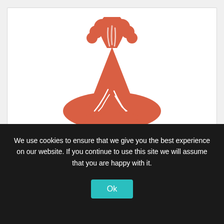[Figure (illustration): Red volcano icon with eruption cloud and lava flows spreading at the base, flat design style in red/coral color]
Ecuador Medical Spanish
We use cookies to ensure that we give you the best experience on our website. If you continue to use this site we will assume that you are happy with it.